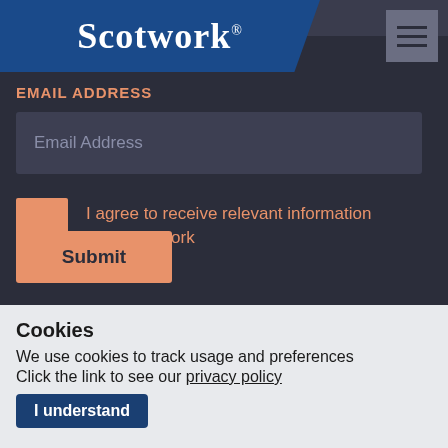Scotwork
EMAIL ADDRESS
Email Address
I agree to receive relevant information from Scotwork
Submit
Cookies
We use cookies to track usage and preferences
Click the link to see our privacy policy
I understand